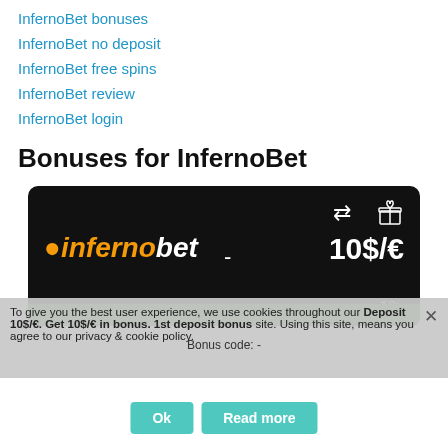InfernoBet bonuses
InfernoBet no deposit
InfernoBet free spins
InfernoBet review
InfernoBet login
Bonuses for InfernoBet
[Figure (screenshot): InfernoBet bonus card on dark background showing logo, 10$/€ amount, and 10x wagering requirement]
To give you the best user experience, we use cookies throughout our site. Using this site, means you agree to our privacy & cookie policy.
Deposit 10$/€. Get 10$/€ in bonus. 1st deposit bonus
Bonus code: -